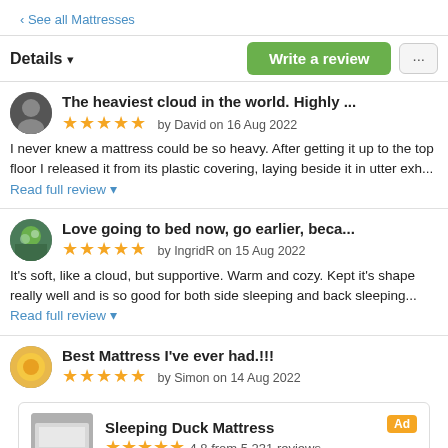‹ See all Mattresses
Details ▾
Write a review
The heaviest cloud in the world. Highly ...
★★★★★ by David on 16 Aug 2022
I never knew a mattress could be so heavy. After getting it up to the top floor I released it from its plastic covering, laying beside it in utter exh... Read full review ▾
Love going to bed now, go earlier, beca...
★★★★★ by IngridR on 15 Aug 2022
It's soft, like a cloud, but supportive. Warm and cozy. Kept it's shape really well and is so good for both side sleeping and back sleeping... Read full review ▾
Best Mattress I've ever had.!!!
★★★★★ by Simon on 14 Aug 2022
Sleeping Duck Mattress
★★★★★ 4.8 from 5,231 reviews
Ad